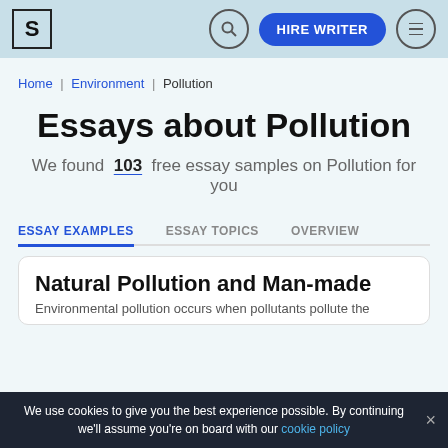S | [search] HIRE WRITER [menu]
Home | Environment | Pollution
Essays about Pollution
We found 103 free essay samples on Pollution for you
ESSAY EXAMPLES | ESSAY TOPICS | OVERVIEW
Natural Pollution and Man-made
Environmental pollution occurs when pollutants pollute the
We use cookies to give you the best experience possible. By continuing we'll assume you're on board with our cookie policy